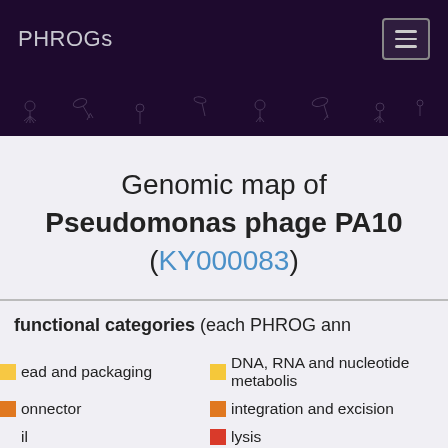PHROGs
Genomic map of Pseudomonas phage PA10 (KY000083)
functional categories (each PHROG ann...
head and packaging  |  DNA, RNA and nucleotide metabolism
connector  |  integration and excision
|  lysis